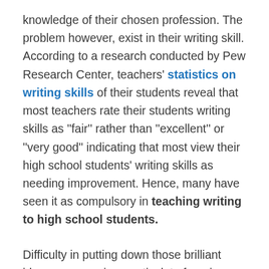knowledge of their chosen profession. The problem however, exist in their writing skill. According to a research conducted by Pew Research Center, teachers' statistics on writing skills of their students reveal that most teachers rate their students writing skills as ''fair'' rather than ''excellent'' or ''very good'' indicating that most view their high school students' writing skills as needing improvement. Hence, many have seen it as compulsory in teaching writing to high school students.
Difficulty in putting down those brilliant ideas on paper in an articulate form is a major cause of failure among students. It is one thing to